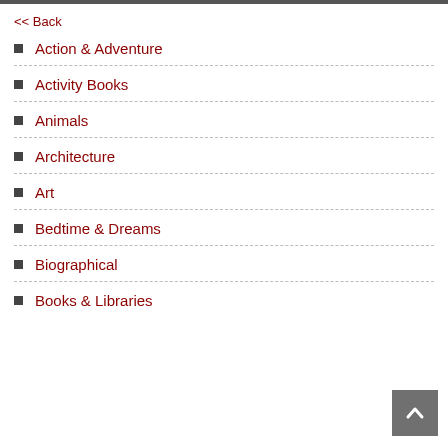<< Back
Action & Adventure
Activity Books
Animals
Architecture
Art
Bedtime & Dreams
Biographical
Books & Libraries